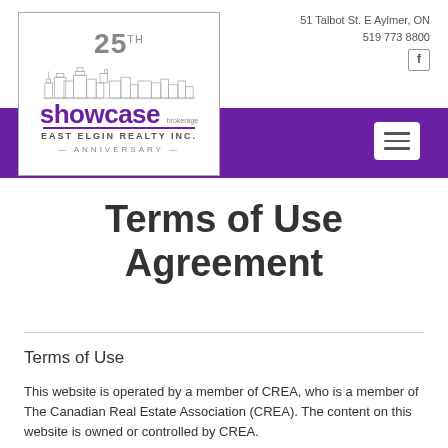Showcase East Elgin Realty Inc. – 25th Anniversary – 51 Talbot St. E Aylmer, ON – 519 773 8800
Terms of Use Agreement
Terms of Use
This website is operated by a member of CREA, who is a member of The Canadian Real Estate Association (CREA). The content on this website is owned or controlled by CREA.